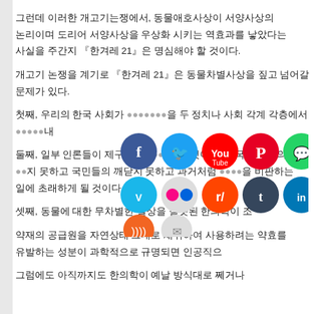그런데 이러한 개고기는쟁에서, 동물애호사상이 서양사상의 논리이며 도리어 서양사상을 우상화 시키는 역효과를 낳았다는 사실을 주간지 『한겨레 21』은 명심해야 할 것이다.
개고기 논쟁을 계기로 『한겨레 21』은 동물차별사상을 짚고 넘어갈 문제가 있다.
첫째, 우리의 한국 사회가 [...]를 두 정치나 사회 각계 각층에서[...] 내
둘째, 일부 인론들이 제구[...] 요 것이다. 결국 자신들의 목[...] 국민들의 깨닫지 못하고 과거처럼 [...] 을 비판하는 일에 초래하게 될 것이다.
셋째, 동물에 대한 무차별한 실상을 잘못된 한의학이 조
약재의 공급원을 자연상태 그대로 채취하여 사용하려는 약효를 유발하는 성분이 과학적으로 규명되면 인공직으
그럼에도 아직까지도 한의학이 예날 방식대로 쩨거나